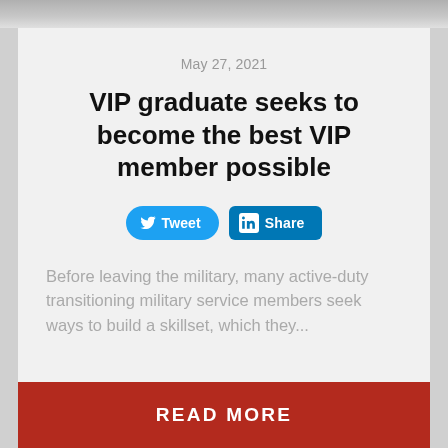[Figure (photo): Top strip showing a partial photo (roof/ceiling area in gray tones)]
May 27, 2021
VIP graduate seeks to become the best VIP member possible
[Figure (infographic): Tweet button (Twitter blue) and Share button (LinkedIn blue)]
Before leaving the military, many active-duty transitioning military service members seek ways to build a skillset, which they...
READ MORE